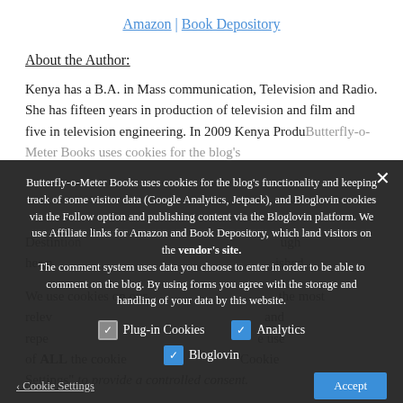Amazon | Book Depository
About the Author:
Kenya has a B.A. in Mass communication, Television and Radio. She has fifteen years in production of television and film and five in television engineering. In 2009 Kenya Produced Destiny through her net Published
We use cookies on our site to give you the most relevant and repeat the use of ALL the cookies. "Cookie Settings" to provide a controlled consent.
Butterfly-o-Meter Books uses cookies for the blog's functionality and keeping track of some visitor data (Google Analytics, Jetpack), and Bloglovin cookies via the Follow option and publishing content via the Bloglovin platform. We use Affiliate links for Amazon and Book Depository, which land visitors on the vendor's site. The comment system uses data you choose to enter in order to be able to comment on the blog. By using forms you agree with the storage and handling of your data by this website.
Plug-in Cookies  Analytics  Bloglovin
Cookie Settings  Accept
Privacy Preferences